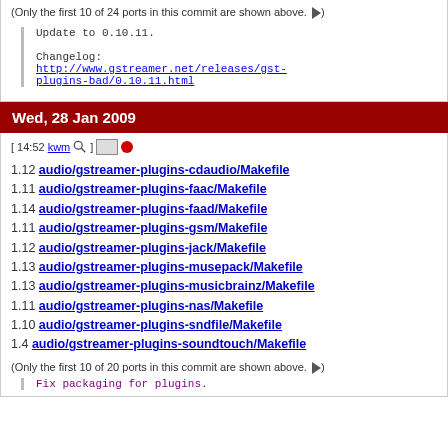(Only the first 10 of 24 ports in this commit are shown above. ▶)
Update to 0.10.11.

Changelog:
http://www.gstreamer.net/releases/gst-plugins-bad/0.10.11.html
Wed, 28 Jan 2009
[ 14:52 kwm ] [icons]
1.12 audio/gstreamer-plugins-cdaudio/Makefile
1.11 audio/gstreamer-plugins-faac/Makefile
1.14 audio/gstreamer-plugins-faad/Makefile
1.11 audio/gstreamer-plugins-gsm/Makefile
1.12 audio/gstreamer-plugins-jack/Makefile
1.13 audio/gstreamer-plugins-musepack/Makefile
1.13 audio/gstreamer-plugins-musicbrainz/Makefile
1.11 audio/gstreamer-plugins-nas/Makefile
1.10 audio/gstreamer-plugins-sndfile/Makefile
1.4 audio/gstreamer-plugins-soundtouch/Makefile
(Only the first 10 of 20 ports in this commit are shown above. ▶)
Fix packaging for plugins.